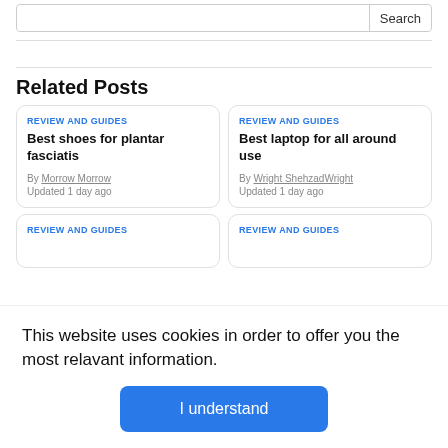[Figure (screenshot): Search bar with input field and Search button]
Related Posts
REVIEW AND GUIDES
Best shoes for plantar fasciatis
By Morrow Morrow
Updated 1 day ago
REVIEW AND GUIDES
Best laptop for all around use
By Wright ShehzadWright
Updated 1 day ago
REVIEW AND GUIDES
REVIEW AND GUIDES
This website uses cookies in order to offer you the most relavant information.
I understand